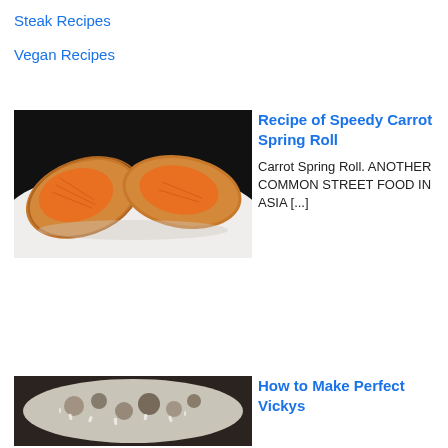Steak Recipes
Vegan Recipes
[Figure (photo): Two halves of a fried carrot spring roll showing orange carrot filling inside, on a white plate with black background]
Recipe of Speedy Carrot Spring Roll
Carrot Spring Roll. ANOTHER COMMON STREET FOOD IN ASIA [...]
[Figure (photo): Close-up of a rice and mixed ingredient dish with various toppings, partially visible at bottom of page]
How to Make Perfect Vickys